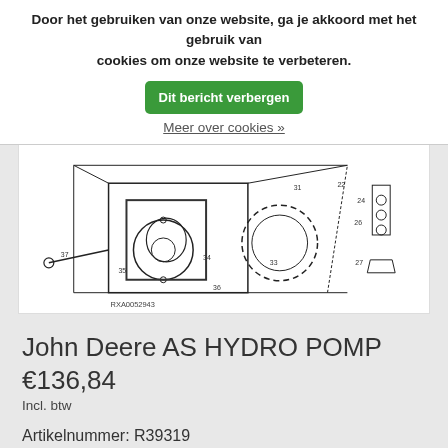Door het gebruiken van onze website, ga je akkoord met het gebruik van cookies om onze website te verbeteren. Dit bericht verbergen
Meer over cookies »
[Figure (engineering-diagram): Technical exploded-view parts diagram of a John Deere hydraulic pump assembly showing numbered components. Reference number RXA0052943.]
John Deere AS HYDRO POMP
€136,84
Incl. btw
Artikelnummer: R39319
☆☆☆☆☆ (0)